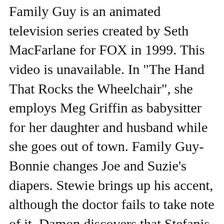Family Guy is an animated television series created by Seth MacFarlane for FOX in 1999. This video is unavailable. In "The Hand That Rocks the Wheelchair", she employs Meg Griffin as babysitter for her daughter and husband while she goes out of town. Family Guy- Bonnie changes Joe and Suzie's diapers. Stewie brings up his accent, although the doctor fails to take note of it. Damon discovers that Stefanis hiding a dan... 3 yıl önce | 15 görüntülenme. But I think the only people who are screaming ''OH MY GOD !! 3. "Brian the Closer" is the fourth episode of the thirteenth season of the animated sitcom Family Guy, and the 235th episode overall. When all the women are in the van, Lois mistakenly refers to Bonnie Swanson as “Debbie.” Also, at the end of the episode, after Brian says that “some mysteries are better left unsolved,” Bonnie says